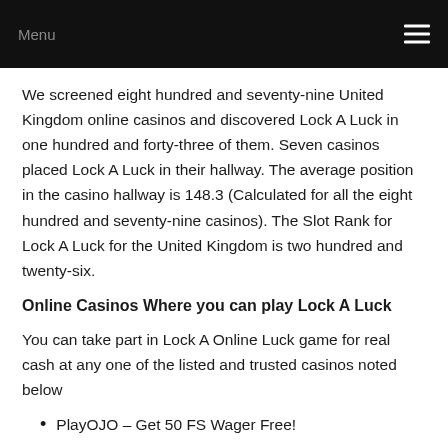Menu
We screened eight hundred and seventy-nine United Kingdom online casinos and discovered Lock A Luck in one hundred and forty-three of them. Seven casinos placed Lock A Luck in their hallway. The average position in the casino hallway is 148.3 (Calculated for all the eight hundred and seventy-nine casinos). The Slot Rank for Lock A Luck for the United Kingdom is two hundred and twenty-six.
Online Casinos Where you can play Lock A Luck
You can take part in Lock A Online Luck game for real cash at any one of the listed and trusted casinos noted below
PlayOJO – Get 50 FS Wager Free!